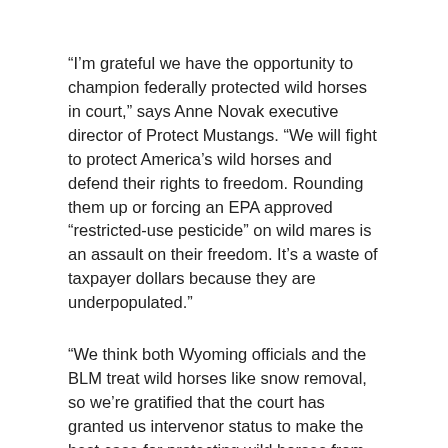“I’m grateful we have the opportunity to champion federally protected wild horses in court,” says Anne Novak executive director of Protect Mustangs. “We will fight to protect America’s wild horses and defend their rights to freedom. Rounding them up or forcing an EPA approved “restricted-use pesticide” on wild mares is an assault on their freedom. It’s a waste of taxpayer dollars because they are underpopulated.”
“We think both Wyoming officials and the BLM treat wild horses like snow removal, so we’re gratified that the court has granted us intervenor status to make the best case for protecting wild horses from the tragedies of roundups, PZP use, and disposal,” states Priscilla Feral, president of Friends of Animals.
FoA and Protect Mustangs oppose all removals of wild horses and believe the appropriate management levels (AMLs) set for the Herd Management Areas in Wyoming are too low, outdated and do not accurately reflect the